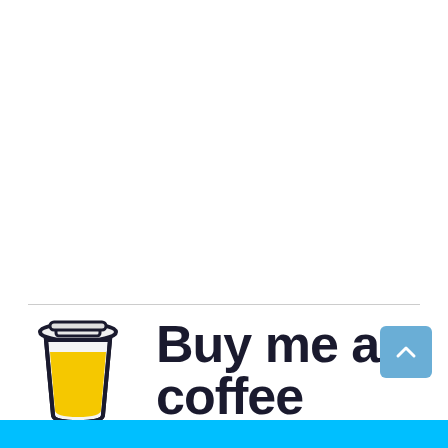[Figure (logo): Buy Me a Coffee logo: a takeaway coffee cup icon with yellow liquid and dark outline, next to the text 'Buy me a coffee' in bold dark handwritten/cursive font]